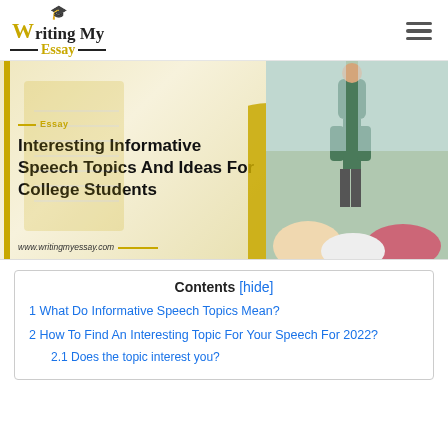[Figure (logo): Writing My Essay logo with graduation cap icon, yellow W and Essay text]
[Figure (illustration): Hero banner image: Interesting Informative Speech Topics And Ideas For College Students. Left side shows notebook illustration on warm background, right side shows photo of teacher presenting to students in classroom. URL: www.writingmyessay.com]
Contents [hide]
1 What Do Informative Speech Topics Mean?
2 How To Find An Interesting Topic For Your Speech For 2022?
2.1 Does the topic interest you?